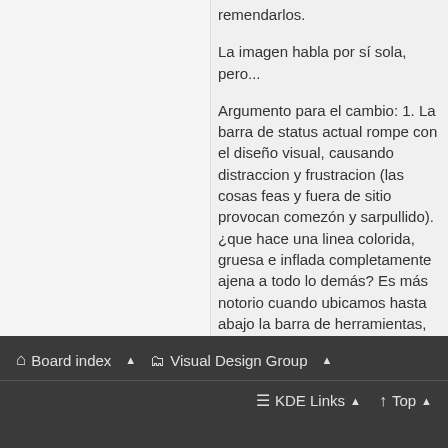remendarlos.
La imagen habla por sí sola, pero...
Argumento para el cambio: 1. La barra de status actual rompe con el diseño visual, causando distraccion y frustracion (las cosas feas y fuera de sitio provocan comezón y sarpullido). ¿que hace una linea colorida, gruesa e inflada completamente ajena a todo lo demás? Es más notorio cuando ubicamos hasta abajo la barra de herramientas, cuando la barra
Board index   Visual Design Group   KDE Links   Top